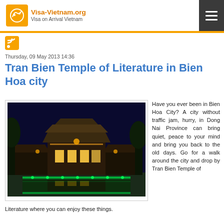Visa-Vietnam.org Visa on Arrival Vietnam
Thursday, 09 May 2013 14:36
Tran Bien Temple of Literature in Bien Hoa city
[Figure (photo): Night photo of Tran Bien Temple of Literature illuminated with green and yellow lights, with a reflecting pool in the foreground and dark blue sky in the background]
Have you ever been in Bien Hoa City? A city without traffic jam, hurry, in Dong Nai Province can bring quiet, peace to your mind and bring you back to the old days. Go for a walk around the city and drop by Tran Bien Temple of Literature where you can enjoy these things.